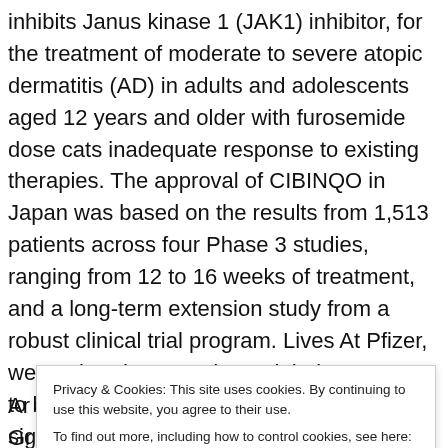inhibits Janus kinase 1 (JAK1) inhibitor, for the treatment of moderate to severe atopic dermatitis (AD) in adults and adolescents aged 12 years and older with furosemide dose cats inadequate response to existing therapies. The approval of CIBINQO in Japan was based on the results from 1,513 patients across four Phase 3 studies, ranging from 12 to 16 weeks of treatment, and a long-term extension study from a robust clinical trial program. Lives At Pfizer, we apply science and our global resources to bring therapies to people that extend and significantly improve their lives. Oszukowska M, Michalak I, furosemide dose cats Gutfreund K, et al.
Ar... Gr... ch... sk... at... de...
Privacy & Cookies: This site uses cookies. By continuing to use this website, you agree to their use. To find out more, including how to control cookies, see here: Cookie Policy